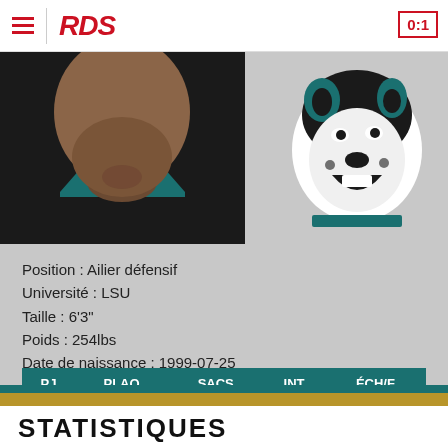RDS  0:1
[Figure (photo): Player photo showing neck/chin area wearing black and teal jersey]
[Figure (logo): Jacksonville Jaguars team logo - jaguar head in black, white and teal]
Position : Ailier défensif
Université : LSU
Taille : 6'3"
Poids : 254lbs
Date de naissance : 1999-07-25
Lieu de naissance : Houston, Texas
| PJ | PLAQ | SACS | INT | ÉCH/F |
| --- | --- | --- | --- | --- |
| 0 | – | – | – | – |
STATISTIQUES